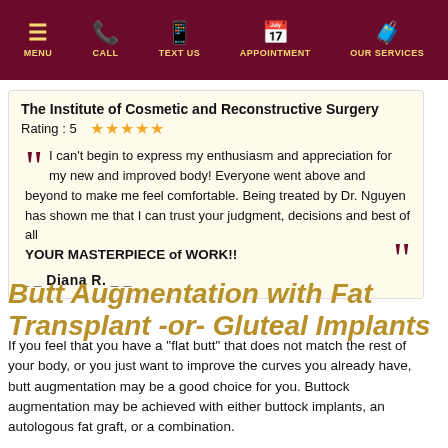MENU | CALL | TEXT US | APPOINTMENT | OUR SERVICES
The Institute of Cosmetic and Reconstructive Surgery
Rating : 5 ★★★★★

““ I can't begin to express my enthusiasm and appreciation for my new and improved body! Everyone went above and beyond to make me feel comfortable. Being treated by Dr. Nguyen has shown me that I can trust your judgment, decisions and best of all YOUR MASTERPIECE of WORK!! ””

_ _ Diana R. _ _
Butt Augmentation with Fat Transplant -or- Gluteal Implants
If you feel that you have a "flat butt" that does not match the rest of your body, or you just want to improve the curves you already have, butt augmentation may be a good choice for you. Buttock augmentation may be achieved with either buttock implants, an autologous fat graft, or a combination.